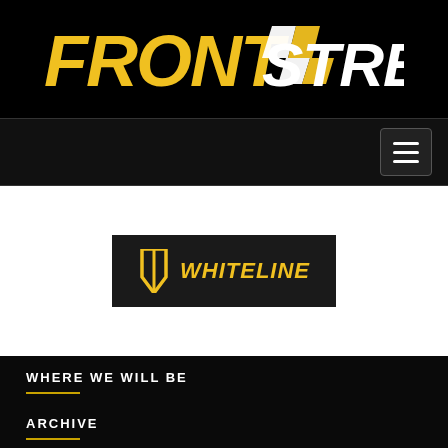[Figure (logo): Front Street FS logo in yellow and white text on black background]
[Figure (logo): Whiteline logo in yellow text on dark background with yellow shield icon]
WHERE WE WILL BE
ARCHIVE